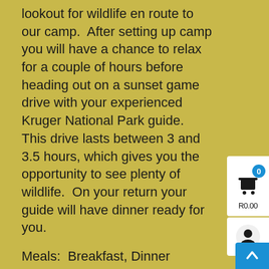lookout for wildlife en route to our camp.  After setting up camp you will have a chance to relax for a couple of hours before heading out on a sunset game drive with your experienced Kruger National Park guide.  This drive lasts between 3 and 3.5 hours, which gives you the opportunity to see plenty of wildlife.  On your return your guide will have dinner ready for you.
Meals:  Breakfast, Dinner
Budget tour:  Camping
Accommodated tour:  National Park Chalets
Day 3: Kruger National Park
Starting the day early you will head out on a full day's open vehicle game drive with an experienced Kruger guide, who will drop you off back at camp in the afternoon.